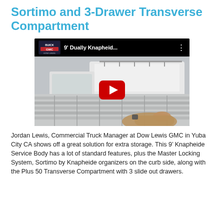Sortimo and 3-Drawer Transverse Compartment
[Figure (screenshot): YouTube video thumbnail showing a 9' Dually Knapheide service body with a Buick GMC Dow Lewis dealer logo, video title text '9\u2019 Dually Knapheid...' and a red YouTube play button overlay. The scene shows a white truck and a hand resting on drawer compartments.]
Jordan Lewis, Commercial Truck Manager at Dow Lewis GMC in Yuba City CA shows off a great solution for extra storage. This 9’ Knapheide Service Body has a lot of standard features, plus the Master Locking System, Sortimo by Knapheide organizers on the curb side, along with the Plus 50 Transverse Compartment with 3 slide out drawers.